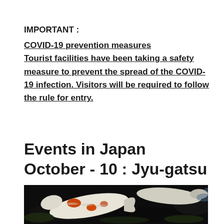IMPORTANT :
COVID-19 prevention measures
Tourist facilities have been taking a safety measure to prevent the spread of the COVID-19 infection. Visitors will be required to follow the rule for entry.
Events in Japan
October - 10 : Jyu-gatsu
[Figure (photo): Photo of koi fish swimming in dark water, white and orange colored fish visible]